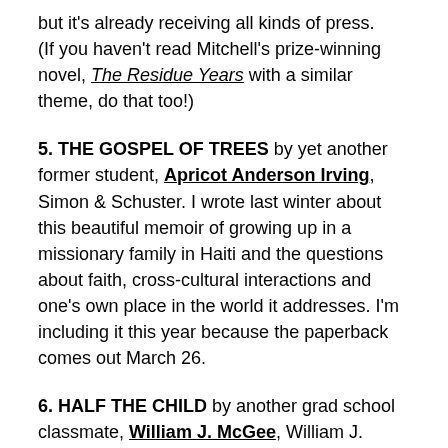but it's already receiving all kinds of press. (If you haven't read Mitchell's prize-winning novel, The Residue Years with a similar theme, do that too!)
5. THE GOSPEL OF TREES by yet another former student, Apricot Anderson Irving, Simon & Schuster. I wrote last winter about this beautiful memoir of growing up in a missionary family in Haiti and the questions about faith, cross-cultural interactions and one's own place in the world it addresses. I'm including it this year because the paperback comes out March 26.
6. HALF THE CHILD by another grad school classmate, William J. McGee, William J. McGee. This novel takes you inside the relationship and struggles of a divorcing dad and his toddler son–a rare, compassionate view. Already available.
7. PLACEMAKER: CULTIVATING PLACES OF